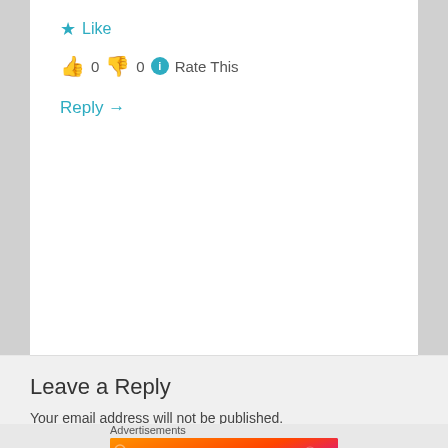★ Like
👍 0 👎 0 ℹ Rate This
Reply →
Leave a Reply
Your email address will not be published. Required fields are marked *
COMMENT
[Figure (screenshot): Fandom on Tumblr advertisement banner with colorful gradient background (orange to purple) and white illustrated doodles]
Advertisements